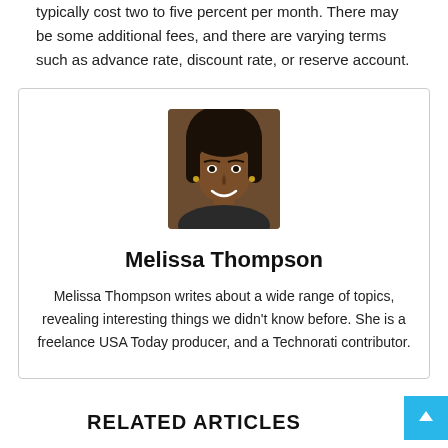typically cost two to five percent per month. There may be some additional fees, and there are varying terms such as advance rate, discount rate, or reserve account.
[Figure (photo): Portrait photo of Melissa Thompson, a woman smiling at the camera]
Melissa Thompson
Melissa Thompson writes about a wide range of topics, revealing interesting things we didn't know before. She is a freelance USA Today producer, and a Technorati contributor.
RELATED ARTICLES